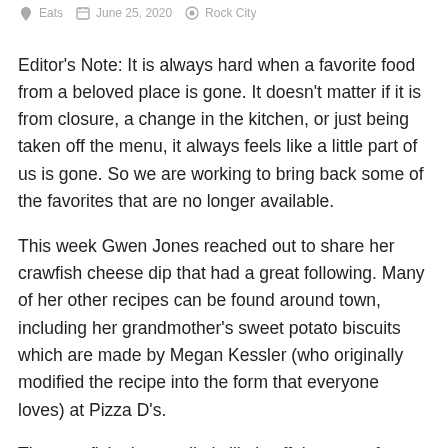Eats   June 25, 2020   Rock City
Editor's Note: It is always hard when a favorite food from a beloved place is gone. It doesn't matter if it is from closure, a change in the kitchen, or just being taken off the menu, it always feels like a little part of us is gone. So we are working to bring back some of the favorites that are no longer available.
This week Gwen Jones reached out to share her crawfish cheese dip that had a great following. Many of her other recipes can be found around town, including her grandmother's sweet potato biscuits which are made by Megan Kessler (who originally modified the recipe into the form that everyone loves) at Pizza D's.
The crawfish cheese dip is likely off the menu for good, so why not make it at home? This recipe makes a large batch, but can be easily modified for smaller...